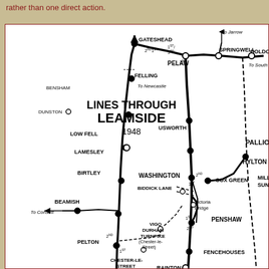rather than one direct action.
[Figure (map): Railway map titled 'LINES THROUGH LEAMSIDE 1948' showing railway lines in the northeast England area, including stations: Gateshead, Bensham, Dunston, Felling, Pelaw, Springwell, Boldon, Low Fell, Lamesley, Usworth, Pallion, Hylton, Birtley, Washington, Biddick Lane, Victoria Bridge, Cox Green, Beamish, Vigo Durham Turnpike (Chester-le-Street), Penshaw, Pelton, Chester-le-Street, Fencehouses, Rainton. Arrows indicate directions To Jarrow, To Newcastle, To Consett, To South S. Lines marked with 1st, 2nd, 3rd designations.]